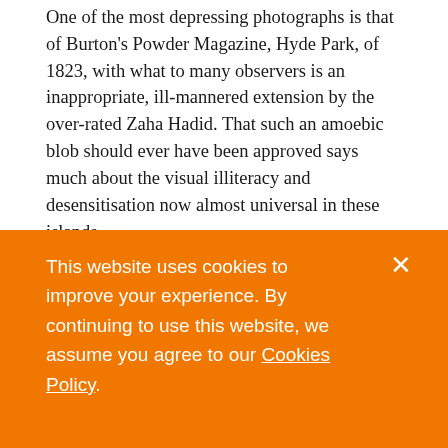One of the most depressing photographs is that of Burton's Powder Magazine, Hyde Park, of 1823, with what to many observers is an inappropriate, ill-mannered extension by the over-rated Zaha Hadid. That such an amoebic blob should ever have been approved says much about the visual illiteracy and desensitisation now almost universal in these islands.
It is a pity that what ought to have been a very fine
This website uses cookies to improve your experience. By continuing to use this website, we assume you agree to our Cookies Policy.